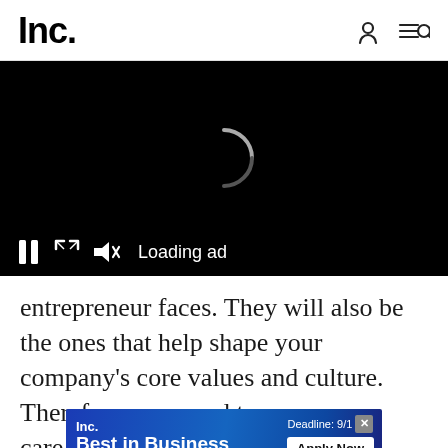Inc.
[Figure (screenshot): Video player with black background showing a loading spinner and controls: pause button, expand button, mute button, and 'Loading ad' text]
entrepreneur faces. They will also be the ones that help shape your company's core values and culture. Therefore, you need to care
[Figure (other): Inc. Best in Business advertisement banner with 'Deadline: 9/1' and 'Apply Now' button]